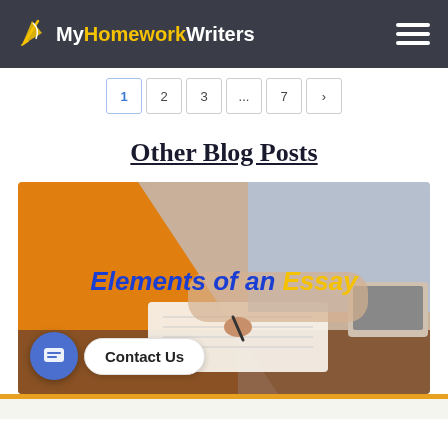MyHomeworkWriters
1 2 3 ... 7 >
Other Blog Posts
[Figure (photo): Person writing in a notebook at a desk with a laptop; orange background on left side. Text overlay: 'Elements of an Essay']
Contact Us